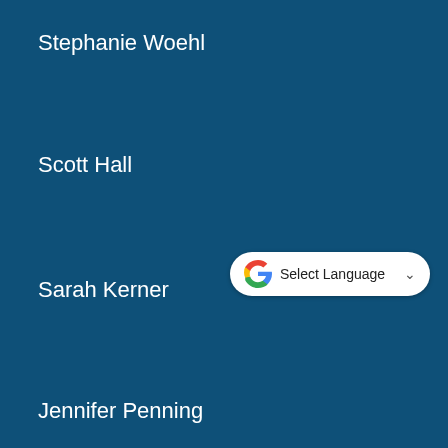Stephanie Woehl
Scott Hall
Sarah Kerner
Jennifer Penning
Robert Uckele
Laurie Duncan
Jonathan Blodgett
Cara Burch
Bob Atchley
[Figure (screenshot): Google Translate 'Select Language' dropdown widget with Google G logo and chevron arrow]